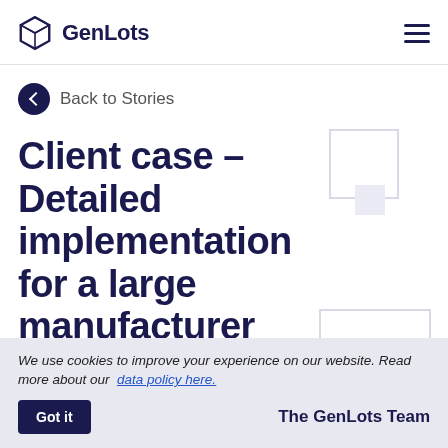GenLots
Back to Stories
Client case – Detailed implementation for a large manufacturer
We use cookies to improve your experience on our website. Read more about our data policy here.
Got it
The GenLots Team